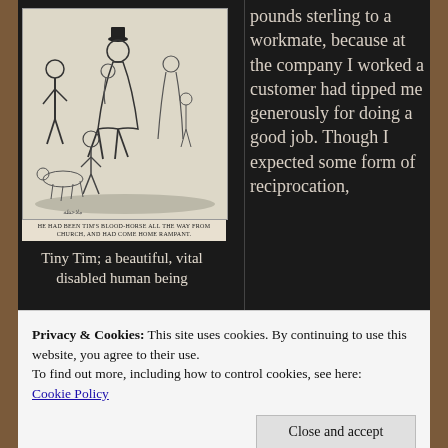[Figure (illustration): Victorian-era black and white engraving showing a scene with several people on a street. A man in a top hat appears to be carrying a child on his back, with other figures including women and children around them. Below the image is a caption in small caps reading: HE HAD BEEN TIM'S BLOOD-HORSE ALL THE WAY FROM CHURCH, AND HAD COME HOME RAMPANT.]
Tiny Tim; a beautiful, vital disabled human being
pounds sterling to a workmate, because at the company I worked a customer had tipped me generously for doing a good job. Though I expected some form of reciprocation,
Privacy & Cookies: This site uses cookies. By continuing to use this website, you agree to their use.
To find out more, including how to control cookies, see here: Cookie Policy
Close and accept
hypocritical of me to do so. The bulk of my acts